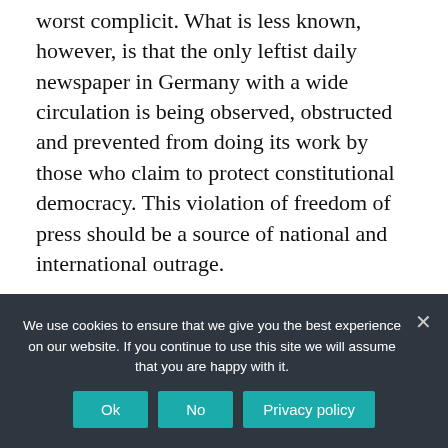worst complicit. What is less known, however, is that the only leftist daily newspaper in Germany with a wide circulation is being observed, obstructed and prevented from doing its work by those who claim to protect constitutional democracy. This violation of freedom of press should be a source of national and international outrage.
Tags: Politics
We use cookies to ensure that we give you the best experience on our website. If you continue to use this site we will assume that you are happy with it.